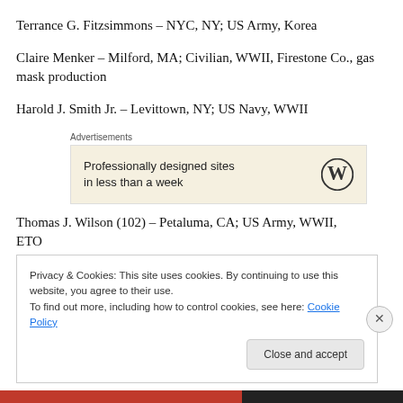Terrance G. Fitzsimmons – NYC, NY; US Army, Korea
Claire Menker – Milford, MA; Civilian, WWII, Firestone Co., gas mask production
Harold J. Smith Jr. – Levittown, NY; US Navy, WWII
[Figure (other): WordPress advertisement banner: 'Professionally designed sites in less than a week' with WordPress logo]
Thomas J. Wilson (102) – Petaluma, CA; US Army, WWII, ETO
Privacy & Cookies: This site uses cookies. By continuing to use this website, you agree to their use.
To find out more, including how to control cookies, see here: Cookie Policy
Close and accept